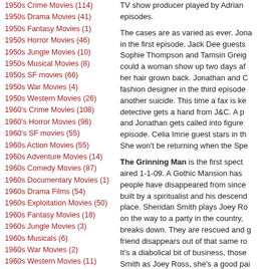1950s Crime Movies (114)
1950s Drama Movies (41)
1950s Fantasy Movies (1)
1950s Horror Movies (46)
1950s Jungle Movies (10)
1950s Musical Movies (8)
1950s SF movies (66)
1950s War Movies (4)
1950s Western Movies (26)
1960's Crime Movies (108)
1960's Horror Movies (96)
1960's SF movies (55)
1960s Action Movies (55)
1960s Adventure Movies (14)
1960s Comedy Movies (87)
1960s Documentary Movies (1)
1960s Drama Films (54)
1960s Exploitation Movies (50)
1960s Fantasy Movies (18)
1960s Jungle Movies (3)
1960s Musicals (6)
1960s War Movies (2)
1960s Western Movies (11)
TV show producer played by Adrian... episodes.
The cases are as varied as ever. Jona... her hair grown back. Jonathan and C... fashion designer in the third episode... another suicide. This time a fax is ke... detective gets a hand from J&C. A p... and Jonathan gets called into figure ... episode. Celia Imrie guest stars in th... She won't be returning when the Spe...
The Grinning Man is the first spect... aired 1-1-09. A Gothic Mansion has ... people have disappeared from since ... built by a spiritualist and his descend... place. Sheridan Smith plays Joey Ro... on the way to a party in the country,... breaks down. They are rescued and g... friend disappears out of that same ro... It's a diabolical bit of business, those... Smith as Joey Ross, she's a good pai... the investigator that Jonathan is but s... him to get things done.
[Figure (photo): Dark image at the bottom right of the page, appears to be a still from a TV show or film.]